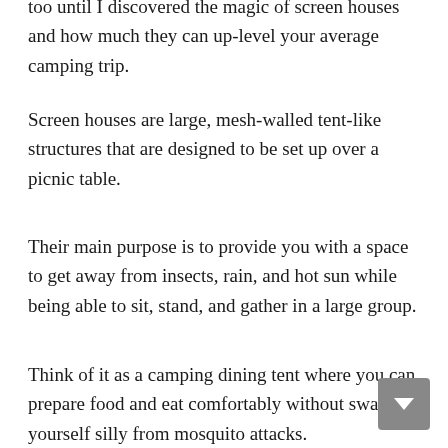too until I discovered the magic of screen houses and how much they can up-level your average camping trip.
Screen houses are large, mesh-walled tent-like structures that are designed to be set up over a picnic table.
Their main purpose is to provide you with a space to get away from insects, rain, and hot sun while being able to sit, stand, and gather in a large group.
Think of it as a camping dining tent where you can prepare food and eat comfortably without swatting yourself silly from mosquito attacks.